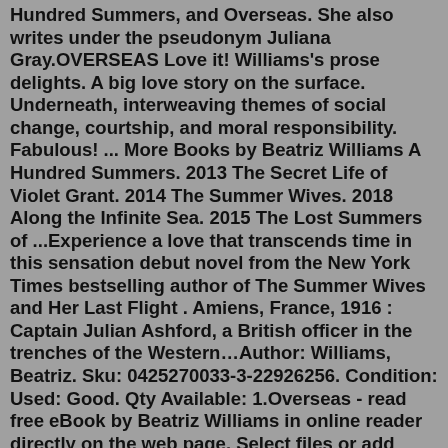Hundred Summers, and Overseas. She also writes under the pseudonym Juliana Gray.OVERSEAS Love it! Williams's prose delights. A big love story on the surface. Underneath, interweaving themes of social change, courtship, and moral responsibility. Fabulous! ... More Books by Beatriz Williams A Hundred Summers. 2013 The Secret Life of Violet Grant. 2014 The Summer Wives. 2018 Along the Infinite Sea. 2015 The Lost Summers of ...Experience a love that transcends time in this sensation debut novel from the New York Times bestselling author of The Summer Wives and Her Last Flight . Amiens, France, 1916 : Captain Julian Ashford, a British officer in the trenches of the Western…Author: Williams, Beatriz. Sku: 0425270033-3-22926256. Condition: Used: Good. Qty Available: 1.Overseas - read free eBook by Beatriz Williams in online reader directly on the web page. Select files or add your book in reader.City Library | beta.akira.edu.vn-Page:13. Home>Page 13. Power Electronics Circuits Devices